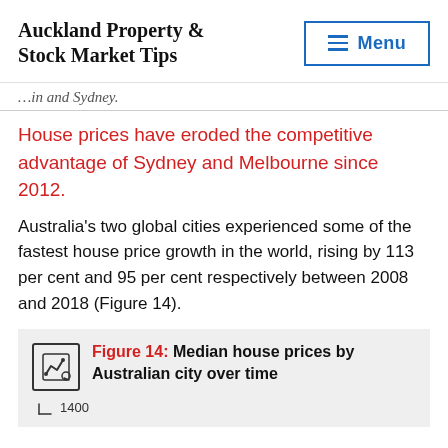Auckland Property & Stock Market Tips
...in and Sydney.
House prices have eroded the competitive advantage of Sydney and Melbourne since 2012.
Australia's two global cities experienced some of the fastest house price growth in the world, rising by 113 per cent and 95 per cent respectively between 2008 and 2018 (Figure 14).
Figure 14: Median house prices by Australian city over time